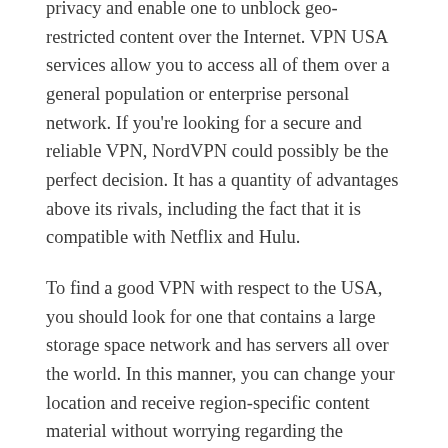privacy and enable one to unblock geo-restricted content over the Internet. VPN USA services allow you to access all of them over a general population or enterprise personal network. If you're looking for a secure and reliable VPN, NordVPN could possibly be the perfect decision. It has a quantity of advantages above its rivals, including the fact that it is compatible with Netflix and Hulu.
To find a good VPN with respect to the USA, you should look for one that contains a large storage space network and has servers all over the world. In this manner, you can change your location and receive region-specific content material without worrying regarding the government spying on your online actions. VPNs is you using a faster Internet connection